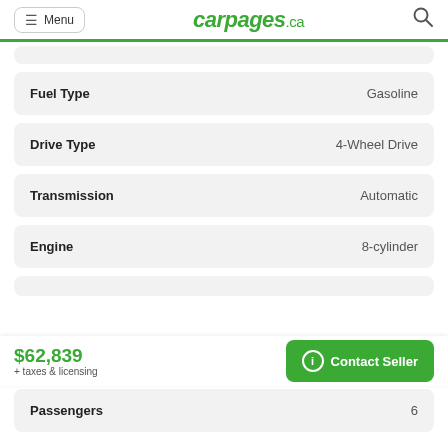carpages.ca
| Feature | Value |
| --- | --- |
| Fuel Type | Gasoline |
| Drive Type | 4-Wheel Drive |
| Transmission | Automatic |
| Engine | 8-cylinder |
| Passengers | 6 |
$62,839
+ taxes & licensing
Contact Seller